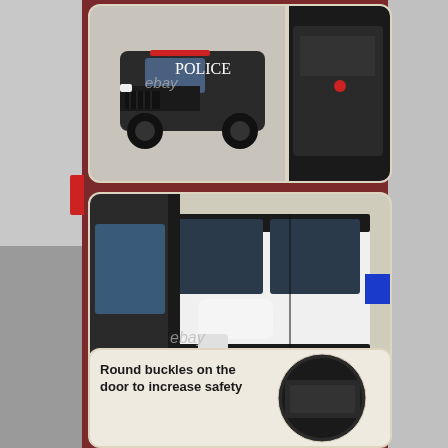[Figure (photo): Top panel showing two product photos side by side: left shows a black police toy SUV (Mercedes G-class style) from front-angle view with 'POLICE' text, right shows interior detail of the vehicle with open compartment. eBay watermark visible.]
[Figure (photo): Large close-up photo of white and black toy police SUV door area showing side mirror detail, door handles, and black trim stripes. eBay watermark visible.]
[Figure (photo): Bottom panel showing product feature callout: left side has text 'Round buckles on the door to increase safety', right side shows circular close-up detail of the door buckle/handle area.]
Round buckles on the door to increase safety